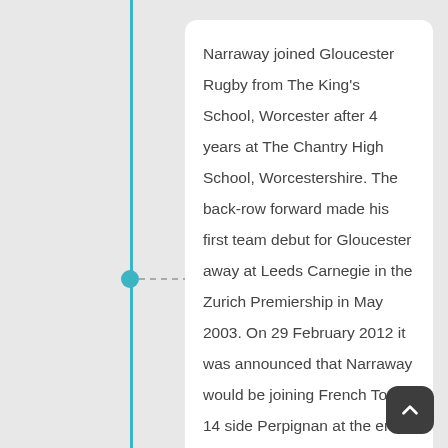Narraway joined Gloucester Rugby from The King's School, Worcester after 4 years at The Chantry High School, Worcestershire. The back-row forward made his first team debut for Gloucester away at Leeds Carnegie in the Zurich Premiership in May 2003. On 29 February 2012 it was announced that Narraway would be joining French Top 14 side Perpignan at the end of the 2011-12 season. On 26 February 2014 London Irish announced that they had signed Narraway on a two-year deal from the beginning of the 2014-15 season. On 21 April 2016, he